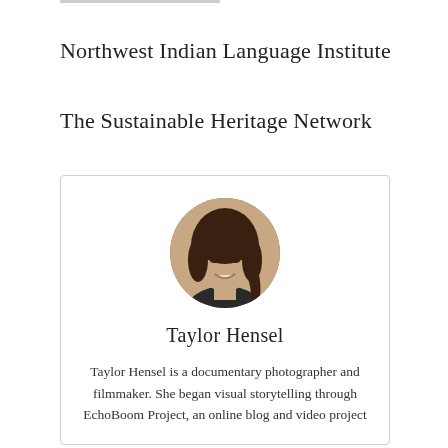Northwest Indian Language Institute
The Sustainable Heritage Network
[Figure (photo): Circular headshot photo of Taylor Hensel, a young woman with long dark hair, smiling]
Taylor Hensel
Taylor Hensel is a documentary photographer and filmmaker. She began visual storytelling through EchoBoom Project, an online blog and video project